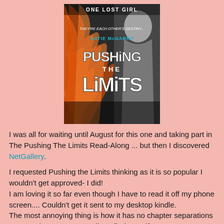[Figure (illustration): Book cover for 'Pushing the Limits' by Katie McGarry. Orange and black design with stylized graffiti-style title text. Text on cover: 'ONE LOST GIRL', 'THEY'RE EACH OTHER'S DESTINY...', 'KATIE MCGARRY', 'PUSHING THE LIMITS']
I was all for waiting until August for this one and taking part in The Pushing The Limits Read-Along ... but then I discovered NetGallery.
I requested Pushing the Limits thinking as it is so popular I wouldn't get approved- I did!
I am loving it so far even though I have to read it off my phone screen.... Couldn't get it sent to my desktop kindle.
The most annoying thing is how it has no chapter separations as I use those to stop reading I find myself